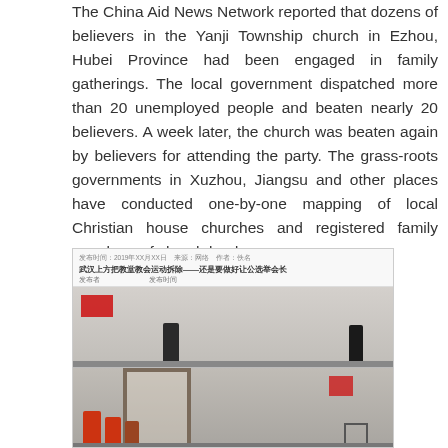The China Aid News Network reported that dozens of believers in the Yanji Township church in Ezhou, Hubei Province had been engaged in family gatherings. The local government dispatched more than 20 unemployed people and beaten nearly 20 believers. A week later, the church was beaten again by believers for attending the party. The grass-roots governments in Xuzhou, Jiangsu and other places have conducted one-by-one mapping of local Christian house churches and registered family members of church leaders.
[Figure (screenshot): Screenshot of a Chinese news article with two photos showing scenes inside a church or meeting place. Top photo shows figures standing in a room with a red flag. Bottom photo shows a group of people seated in red jackets in a similar interior space.]